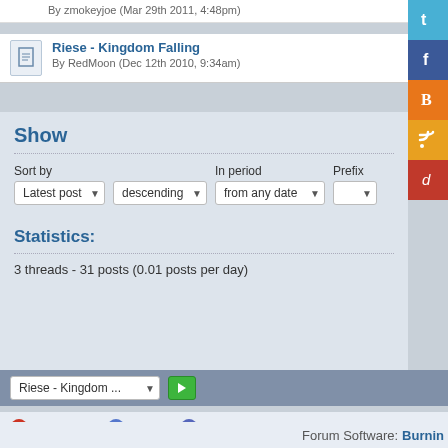By zmokeyjoe (Mar 29th 2011, 4:48pm)
Riese - Kingdom Falling
By RedMoon (Dec 12th 2010, 9:34am)
Show
Sort by  In period  Prefix
Latest post ▼  descending ▼  from any date ▼
Statistics:
3 threads - 31 posts (0.01 posts per day)
Riese - Kingdom ... ▼ ▶
Statistics | Help | Legal Notice
Forum Software: Burnin